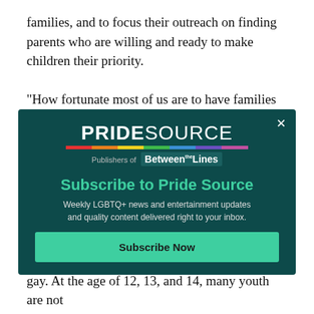families, and to focus their outreach on finding parents who are willing and ready to make children their priority.
“How fortunate most of us are to have families that encourage and accept us,” she said. “Organizations
[Figure (screenshot): Pop-up modal overlay for PrideSource newsletter subscription. Dark teal background with PrideSource logo (rainbow bar beneath), 'Publishers of Between the Lines' tagline, 'Subscribe to Pride Source' heading in teal green, body text 'Weekly LGBTQ+ news and entertainment updates and quality content delivered right to your inbox.', and a 'Subscribe Now' button in teal green. Close button (x) in top right corner.]
gay. At the age of 12, 13, and 14, many youth are not